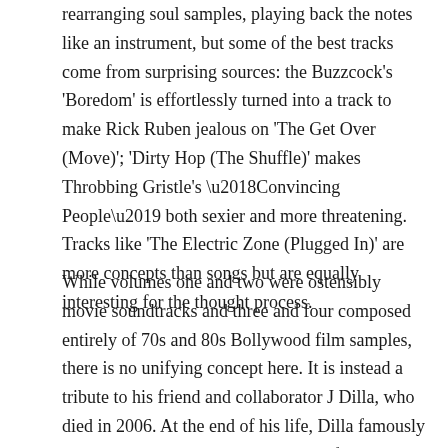rearranging soul samples, playing back the notes like an instrument, but some of the best tracks come from surprising sources: the Buzzcock's 'Boredom' is effortlessly turned into a track to make Rick Ruben jealous on 'The Get Over (Move)'; 'Dirty Hop (The Shuffle)' makes Throbbing Gristle's ‘Convincing People’ both sexier and more threatening. Tracks like 'The Electric Zone (Plugged In)' are more concepts than songs but are equally interesting for the thought process.
While volumes one and two were ostensibly movie soundtracks and three and four composed entirely of 70s and 80s Bollywood film samples, there is no unifying concept here. It is instead a tribute to his friend and collaborator J Dilla, who died in 2006. At the end of his life, Dilla famously leaked beats much like these through file sharing programmes, which was no doubt the inspiration for the series. When you consider that Madlib is, in way, consigning these tracks, any number of which could have been developed into killer